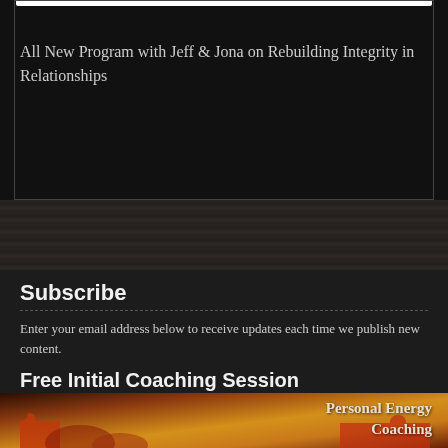All New Program with Jeff & Jona on Rebuilding Integrity in Relationships
Subscribe
Enter your email address below to receive updates each time we publish new content.
Free Initial Coaching Session
[Figure (photo): Hands holding red puzzle pieces with text 'Personal Energy Coaching' overlaid on upper right]